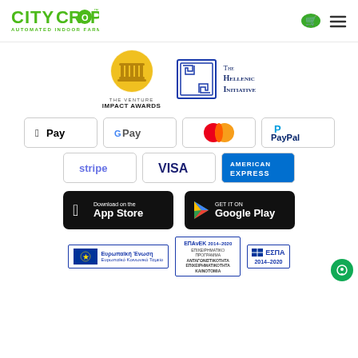[Figure (logo): CityCrop Automated Indoor Farming logo in green, top left]
[Figure (logo): Shopping cart and hamburger menu icons, top right]
[Figure (logo): The Venture Impact Awards logo - gold column icon with text]
[Figure (logo): The Hellenic Initiative logo - blue greek pattern with serif text]
[Figure (logo): Apple Pay payment logo in bordered box]
[Figure (logo): Google Pay payment logo in bordered box]
[Figure (logo): Mastercard payment logo in bordered box]
[Figure (logo): PayPal payment logo in bordered box]
[Figure (logo): Stripe payment logo in bordered box]
[Figure (logo): VISA payment logo in bordered box]
[Figure (logo): American Express payment logo in blue bordered box]
[Figure (logo): Download on the App Store button]
[Figure (logo): Get it on Google Play button]
[Figure (logo): Ευρωπαϊκή Ένωση / European Union / Ευρωπαϊκό Κοινωνικό Ταμείο logo]
[Figure (logo): EPAnEK 2014-2020 logo]
[Figure (logo): ΕΣΠΑ 2014-2020 logo]
[Figure (logo): Chat/support button circle green bottom right]